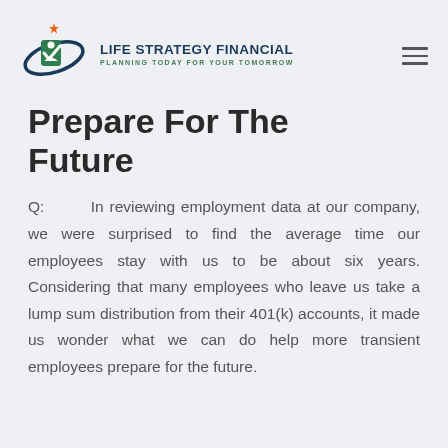LIFE STRATEGY FINANCIAL — PLANNING TODAY FOR YOUR TOMORROW
Prepare For The Future
Q: In reviewing employment data at our company, we were surprised to find the average time our employees stay with us to be about six years. Considering that many employees who leave us take a lump sum distribution from their 401(k) accounts, it made us wonder what we can do help more transient employees prepare for the future.